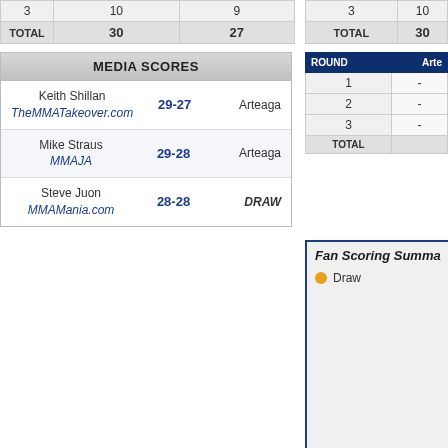|  |  |  |
| --- | --- | --- |
| 3 | 10 | 9 |
| TOTAL | 30 | 27 |
| MEDIA SCORES |  |  |
| --- | --- | --- |
| Keith Shillan
TheMMATakeover.com | 29-27 | Arteaga |
| Mike Straus
MMAJA | 29-28 | Arteaga |
| Steve Juon
MMAMania.com | 28-28 | DRAW |
|  | 3 | 10 |  |
| --- | --- | --- | --- |
| TOTAL | 30 | 2 |
| ROUND | Arte |
| --- | --- |
| 1 | - |
| 2 | - |
| 3 | - |
| TOTAL |  |
Fan Scoring Summary
Draw